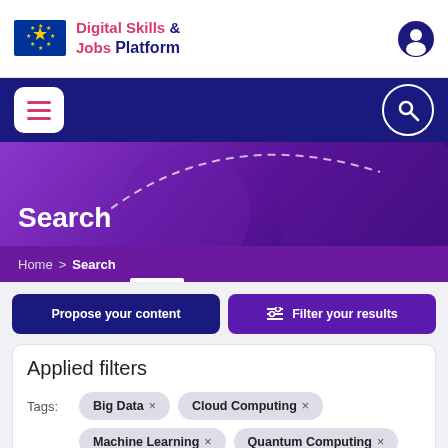Digital Skills & Jobs Platform
[Figure (logo): EU flag logo with stars on blue background]
[Figure (illustration): Navigation bar with hamburger menu and search icon on dark blue background]
Search
Home > Search
Propose your content
Filter your results
Applied filters
Tags: Big Data × Cloud Computing ×
Machine Learning × Quantum Computing ×